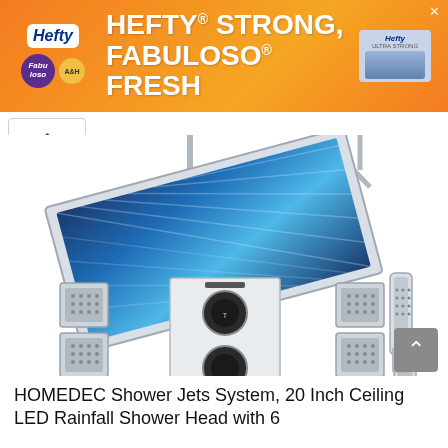[Figure (photo): Advertisement banner for Hefty and Fabuloso products with orange gradient background. Text reads 'HEFTY STRONG, FABULOSO FRESH' in large white bold letters. Logos for Hefty, Fabuloso, and Arm & Hammer visible on left and right.]
[Figure (photo): Product photo of a HOMEDEC shower jets system showing a large 20-inch square LED ceiling rainfall showerhead with blue LED lights mounted on chrome pipes, a thermostatic valve system with three controls, six square body jet sprayers, and a handheld shower head on a holder, all in chrome/white finish on white background.]
HOMEDEC Shower Jets System, 20 Inch Ceiling LED Rainfall Shower Head with 6